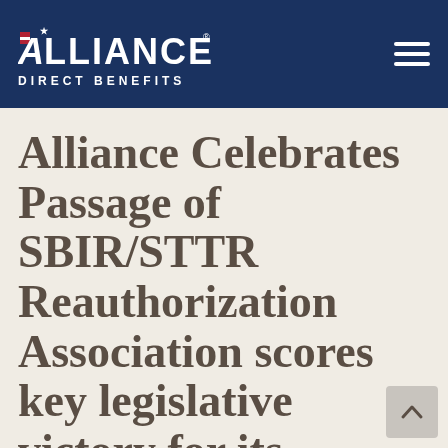Alliance Direct Benefits
Alliance Celebrates Passage of SBIR/STTR Reauthorization Association scores key legislative victory for its members